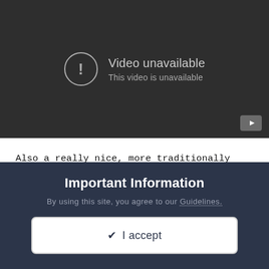[Figure (screenshot): YouTube video embed showing 'Video unavailable' error message with exclamation icon and YouTube logo button in bottom right corner on dark background]
Also a really nice, more traditionally functional one in the middle of "Rey's Theme" if you can spot it!
Important Information
By using this site, you agree to our Guidelines.
✓ I accept